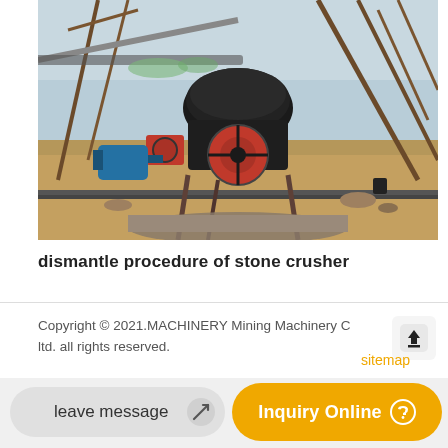[Figure (photo): Outdoor construction/mining site with a stone crusher machine — black and red crusher unit with blue electric motor, set among steel frame structures on a rocky/sandy terrain with conveyor belts visible in background]
dismantle procedure of stone crusher
Copyright © 2021.MACHINERY Mining Machinery Co. ltd. all rights reserved.
sitemap
leave message
Inquiry Online